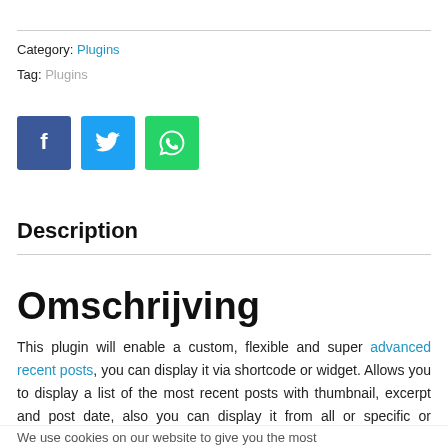Category: Plugins
Tag: Plugins
[Figure (infographic): Three social share buttons: Facebook (dark blue, f icon), Twitter (light blue, bird icon), WhatsApp (green, phone icon)]
Description
Omschrijving
This plugin will enable a custom, flexible and super advanced recent posts, you can display it via shortcode or widget. Allows you to display a list of the most recent posts with thumbnail, excerpt and post date, also you can display it from all or specific or multiple taxonomy, post type and much more!
We use cookies on our website to give you the most